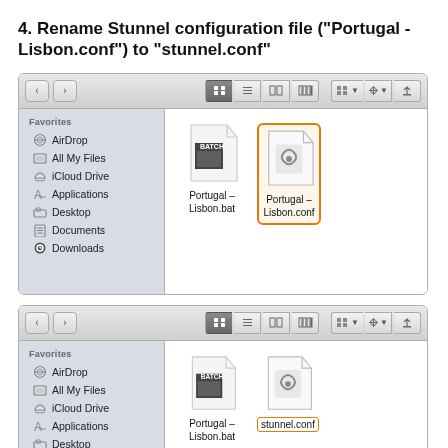4. Rename Stunnel configuration file ("Portugal - Lisbon.conf") to "stunnel.conf"
[Figure (screenshot): macOS Finder window showing two files: Portugal - Lisbon.bat and Portugal - Lisbon.conf, with the .conf file highlighted with an orange border]
[Figure (screenshot): macOS Finder window showing two files: Portugal - Lisbon.bat and stunnel.conf, with stunnel.conf label shown in an orange-bordered rename field]